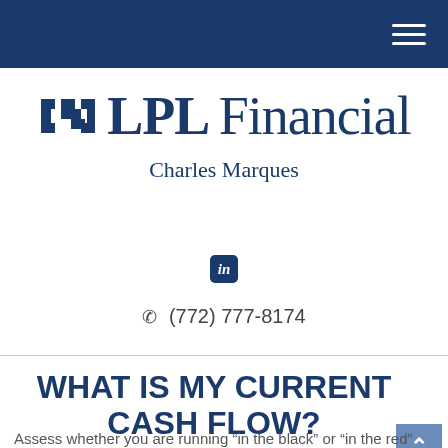LPL Financial — Navigation header bar
[Figure (logo): LPL Financial logo with icon and wordmark]
Charles Marques
[Figure (other): LinkedIn social icon]
(772) 777-8174
WHAT IS MY CURRENT CASH FLOW?
Assess whether you are running “in the black” or “in the red”